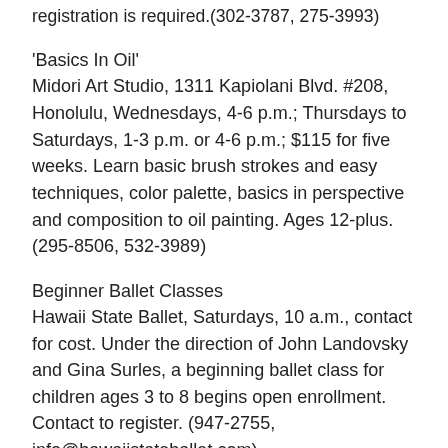registration is required.(302-3787, 275-3993)
'Basics In Oil' Midori Art Studio, 1311 Kapiolani Blvd. #208, Honolulu, Wednesdays, 4-6 p.m.; Thursdays to Saturdays, 1-3 p.m. or 4-6 p.m.; $115 for five weeks. Learn basic brush strokes and easy techniques, color palette, basics in perspective and composition to oil painting. Ages 12-plus. (295-8506, 532-3989)
Beginner Ballet Classes Hawaii State Ballet, Saturdays, 10 a.m., contact for cost. Under the direction of John Landovsky and Gina Surles, a beginning ballet class for children ages 3 to 8 begins open enrollment. Contact to register. (947-2755, info@hawaiistateballet.com)
Beginning Drawing and Painting Class Arts of Paradise Studio at Waikiki Shore Hotel, 12:30-2:30